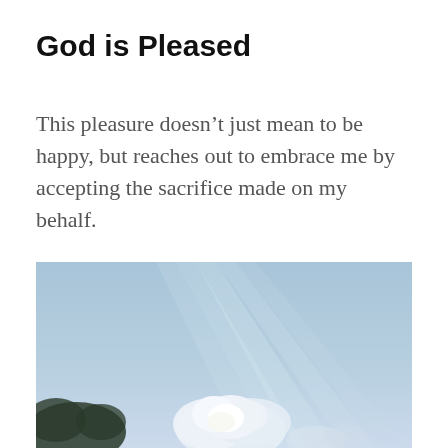God is Pleased
This pleasure doesn’t just mean to be happy, but reaches out to embrace me by accepting the sacrifice made on my behalf.
[Figure (photo): A sky scene with soft blue sky, rays of light streaming through, and white cumulus clouds near the bottom of the image.]